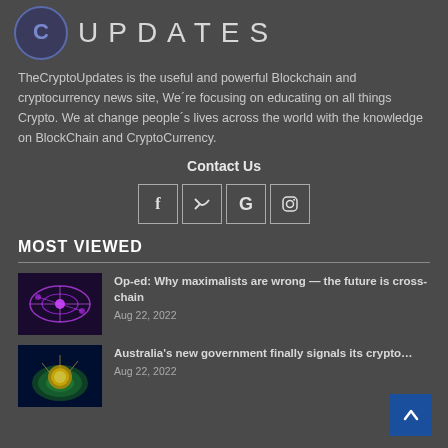UPDATES
TheCryptoUpdates is the useful and powerful Blockchain and cryptocurrency news site, We´re focusing on educating on all things Crypto. We at change people´s lives across the world with the knowledge on BlockChain and CryptoCurrency.
Contact Us
[Figure (infographic): Social media icons: Facebook, Twitter, Google, Instagram — each in a square bordered box]
MOST VIEWED
[Figure (photo): Purple glowing blockchain network chains on dark background]
Op-ed: Why maximalists are wrong — the future is cross-chain
Aug 22, 2022
[Figure (photo): Colorful globe with network connections, representing Australia crypto news]
Australia's new government finally signals its crypto…
Aug 22, 2022